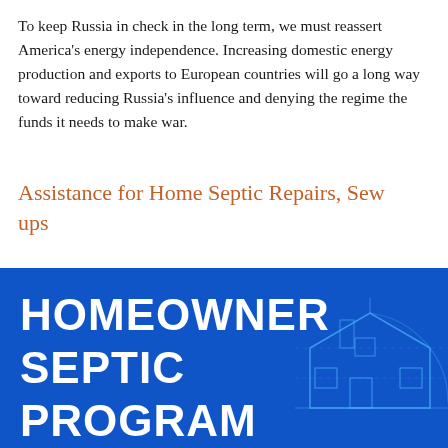To keep Russia in check in the long term, we must reassert America's energy independence. Increasing domestic energy production and exports to European countries will go a long way toward reducing Russia's influence and denying the regime the funds it needs to make war.
Assistance for Home Septic Repairs, Sew ups
[Figure (infographic): Blue background infographic banner reading 'HOMEOWNER SEPTIC PROGRAM' in large bold white text, with a light blue architectural/blueprint style drawing of a house on the right side.]